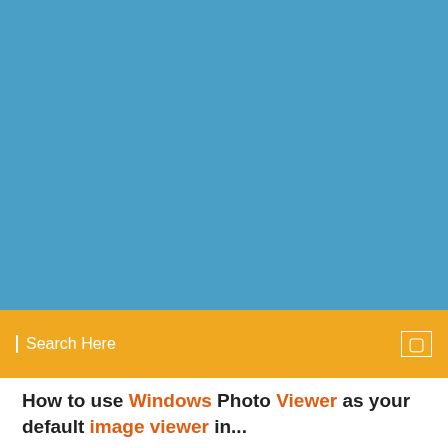[Figure (other): Blue gradient banner image at the top of the page]
Search Here
How to use Windows Photo Viewer as your default image viewer in...
An image browser, converter and editor that supports all major graphic formats including BMP, JPEG, JPEG 2000, GIF, PNG, PCX, TIFF, WMF, ICO, TGA and camera raw files.  |
6 Comments